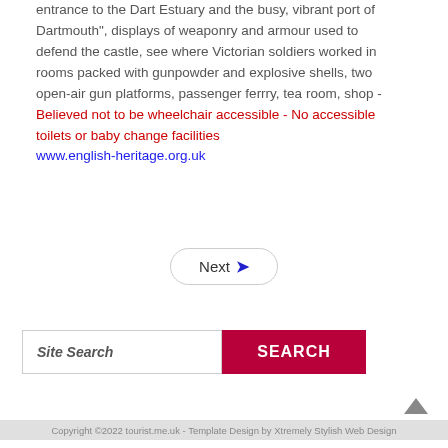entrance to the Dart Estuary and the busy, vibrant port of Dartmouth", displays of weaponry and armour used to defend the castle, see where Victorian soldiers worked in rooms packed with gunpowder and explosive shells, two open-air gun platforms, passenger ferrry, tea room, shop - Believed not to be wheelchair accessible - No accessible toilets or baby change facilities www.english-heritage.org.uk
Next
Site Search
SEARCH
Copyright ©2022 tourist.me.uk - Template Design by Xtremely Stylish Web Design